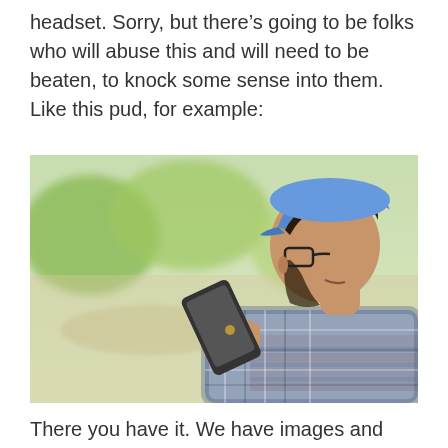headset. Sorry, but there’s going to be folks who will abuse this and will need to be beaten, to knock some sense into them. Like this pud, for example:
[Figure (photo): A man wearing a blue flat cap and plaid shirt sitting on a wooden bench outdoors, holding a smartphone close to his mouth as if using a voice assistant or making a speakerphone call. He is wearing glasses and the background is blurred greenery.]
There you have it. We have images and details of the controller, and it is intriguing. Now, can